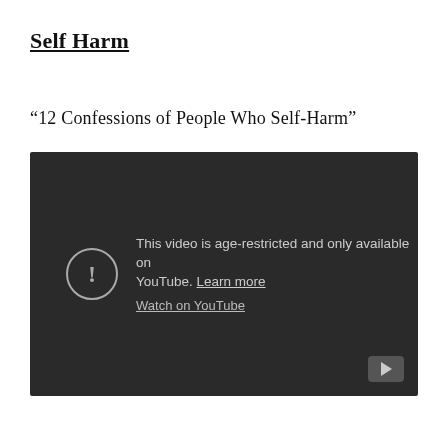Self Harm
“12 Confessions of People Who Self-Harm”
[Figure (screenshot): YouTube embedded video player showing an age-restriction message: 'This video is age-restricted and only available on YouTube. Learn more' and a 'Watch on YouTube' link. The player has a dark background with a warning icon (exclamation mark in a circle) and a YouTube play button in the bottom right corner.]